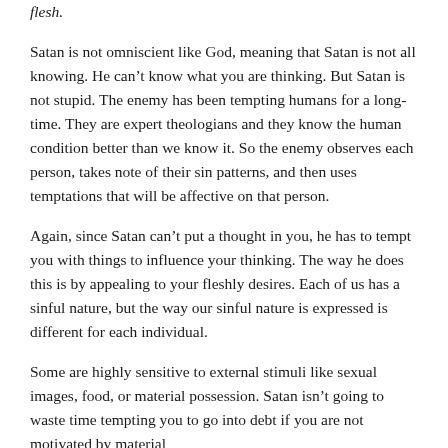flesh.
Satan is not omniscient like God, meaning that Satan is not all knowing. He can’t know what you are thinking. But Satan is not stupid. The enemy has been tempting humans for a long-time. They are expert theologians and they know the human condition better than we know it. So the enemy observes each person, takes note of their sin patterns, and then uses temptations that will be affective on that person.
Again, since Satan can’t put a thought in you, he has to tempt you with things to influence your thinking. The way he does this is by appealing to your fleshly desires. Each of us has a sinful nature, but the way our sinful nature is expressed is different for each individual.
Some are highly sensitive to external stimuli like sexual images, food, or material possession. Satan isn’t going to waste time tempting you to go into debt if you are not motivated by material possession. But if you are highly motivated by food, he’s